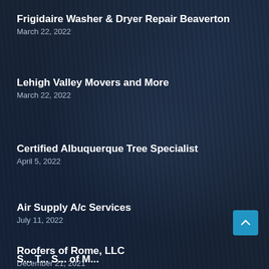Frigidaire Washer & Dryer Repair Beaverton
March 22, 2022
Lehigh Valley Movers and More
March 22, 2022
Certified Albuquerque Tree Specialist
April 5, 2022
Air Supply A/c Services
July 11, 2022
Roofers of Rome, LLC
December 21, 2021
(partial — cut off at bottom)